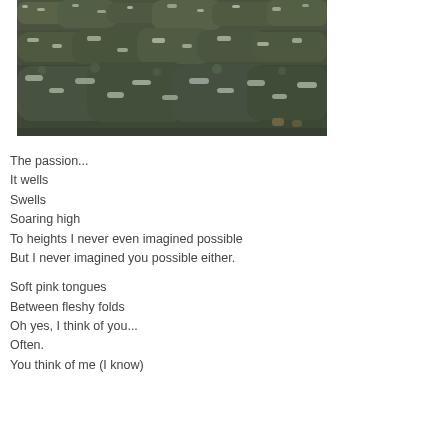[Figure (photo): Outdoor photograph of neatly trimmed dark green topiary hedges layered in rows, with light dusting or frost on the foliage, against a garden background.]
The passion...
It wells
Swells
Soaring high
To heights I never even imagined possible
But I never imagined you possible either.

Soft pink tongues
Between fleshy folds
Oh yes, I think of you...
Often.
You think of me (I know)